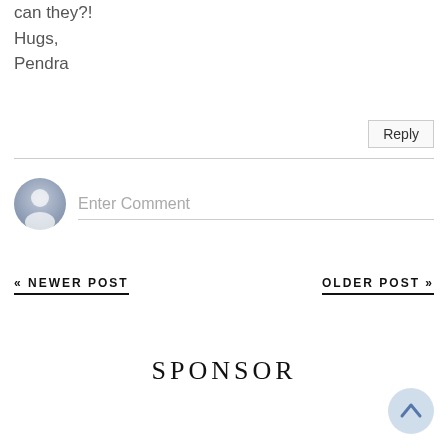can they?!
Hugs,
Pendra
Reply
[Figure (other): User avatar placeholder icon (grey silhouette) with Enter Comment input field]
« NEWER POST
OLDER POST »
SPONSOR
[Figure (other): Back to top button - circular light blue button with upward chevron arrow]